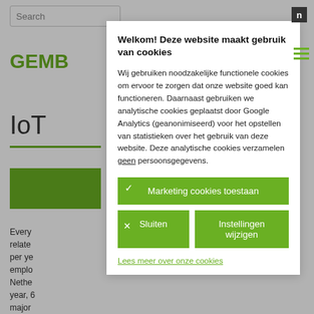Search
GEMBA
IoT
Every related per ye emplo Nethe year, 6 major regula
Welkom! Deze website maakt gebruik van cookies
Wij gebruiken noodzakelijke functionele cookies om ervoor te zorgen dat onze website goed kan functioneren. Daarnaast gebruiken we analytische cookies geplaatst door Google Analytics (geanonimiseerd) voor het opstellen van statistieken over het gebruik van deze website. Deze analytische cookies verzamelen geen persoonsgegevens.
Marketing cookies toestaan
Sluiten
Instellingen wijzigen
Lees meer over onze cookies